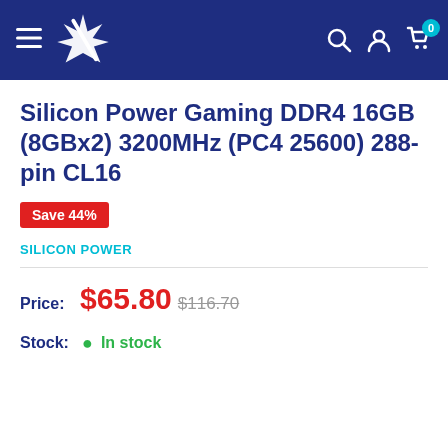Navigation bar with logo, hamburger menu, search, account, and cart icons
Silicon Power Gaming DDR4 16GB (8GBx2) 3200MHz (PC4 25600) 288-pin CL16
Save 44%
SILICON POWER
Price: $65.80 $116.70
Stock: In stock